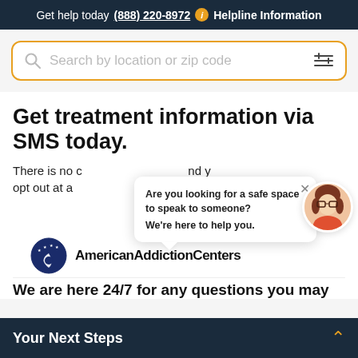Get help today (888) 220-8972 ℹ Helpline Information
[Figure (screenshot): Search box with gold border, magnifying glass icon, placeholder text 'Search by location or zip code', and filter/sliders icon on the right]
Get treatment information via SMS today.
There is no charge and you may opt out at any time.
[Figure (illustration): Chat popup bubble with text 'Are you looking for a safe space to speak to someone? We're here to help you.' with an X close button, and a female avatar with brown hair and glasses in an orange top]
[Figure (logo): American Addiction Centers logo - dark blue circular emblem with stars and crescent moon shape, next to bold text 'AmericanAddictionCenters']
We are here 24/7 for any questions you may
Your Next Steps